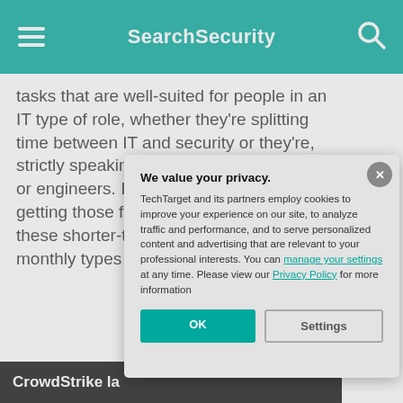SearchSecurity
tasks that are well-suited for people in an IT type of role, whether they're splitting time between IT and security or they're, strictly speaking, systems administrators or engineers. I've met great success getting those folks up to speed doing these shorter-term daily, weekly and monthly types of
This was last published i
Dig Deeper on certificati
CrowdStrike la
We value your privacy.
TechTarget and its partners employ cookies to improve your experience on our site, to analyze traffic and performance, and to serve personalized content and advertising that are relevant to your professional interests. You can manage your settings at any time. Please view our Privacy Policy for more information